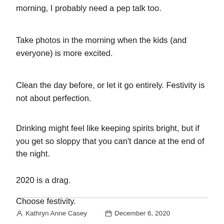morning, I probably need a pep talk too.
Take photos in the morning when the kids (and everyone) is more excited.
Clean the day before, or let it go entirely. Festivity is not about perfection.
Drinking might feel like keeping spirits bright, but if you get so sloppy that you can't dance at the end of the night.
2020 is a drag.
Choose festivity.
Kathryn Anne Casey   December 6, 2020